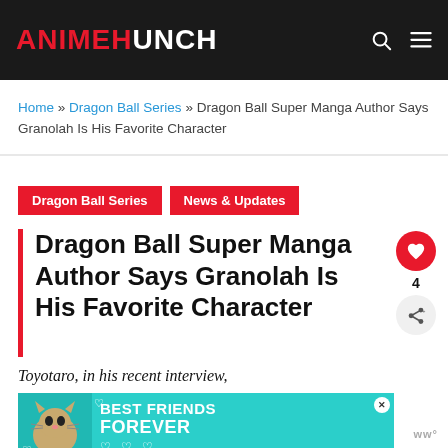ANIMEHUNCH
Home » Dragon Ball Series » Dragon Ball Super Manga Author Says Granolah Is His Favorite Character
Dragon Ball Series
News & Updates
Dragon Ball Super Manga Author Says Granolah Is His Favorite Character
Toyotaro, in his recent interview,
[Figure (illustration): Advertisement banner for Best Friends Forever featuring a cat photo and teal background with hearts decoration]